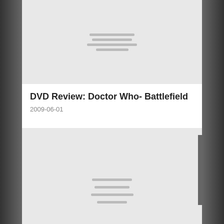[Figure (other): Placeholder image with horizontal lines, grey background, top article thumbnail]
DVD Review: Doctor Who- Battlefield
2009-06-01
[Figure (other): Placeholder image with horizontal lines, grey background, bottom article thumbnail]